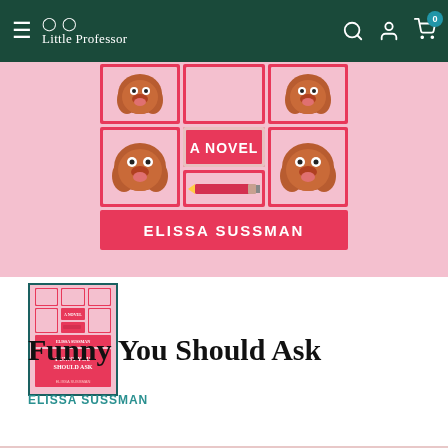Little Professor
[Figure (photo): Book cover of 'Funny You Should Ask' by Elissa Sussman — pink background with cartoon dog faces and text 'A Novel' and 'Elissa Sussman' on red banner]
[Figure (photo): Small thumbnail of the book cover for 'Funny You Should Ask' by Elissa Sussman]
Funny You Should Ask
ELISSA SUSSMAN